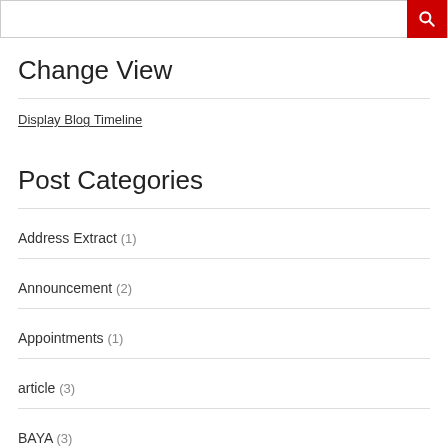[Figure (screenshot): Search bar with red search button icon]
Change View
Display Blog Timeline
Post Categories
Address Extract (1)
Announcement (2)
Appointments (1)
article (3)
BAYA (3)